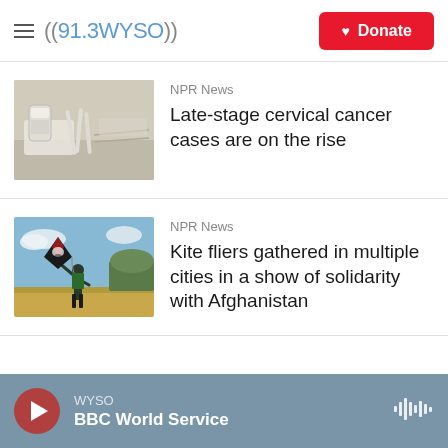((91.3WYSO)) Donate
[Figure (photo): Medical supplies including vials and swabs on a surface]
NPR News
Late-stage cervical cancer cases are on the rise
[Figure (photo): Person flying a black kite in an open field under blue sky]
NPR News
Kite fliers gathered in multiple cities in a show of solidarity with Afghanistan
WYSO BBC World Service